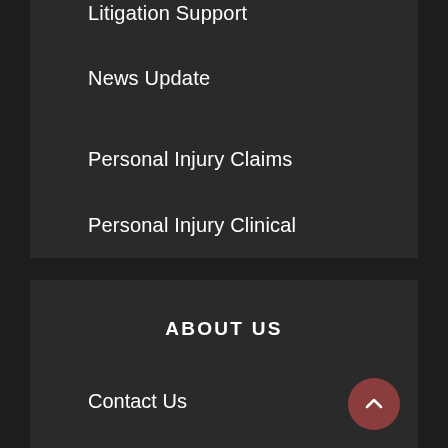Litigation Support
News Update
Personal Injury Claims
Personal Injury Clinical
Search Case Law
ABOUT US
Contact Us
Advertise Here
Disclosure Policy
Sitemap